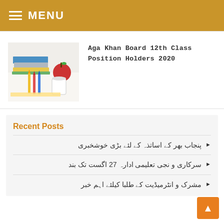MENU
[Figure (photo): Photo of school books, pencils, and an apple on a white background]
Aga Khan Board 12th Class Position Holders 2020
Recent Posts
پنجاب بھر کے اساتذہ کے لئے بڑی خوشخبری
سرکاری و نجی تعلیمی ادارہ 27 اگست تک بند
مشرک و انٹرمیڈیت کے طلبا کیلئے اہم خبر